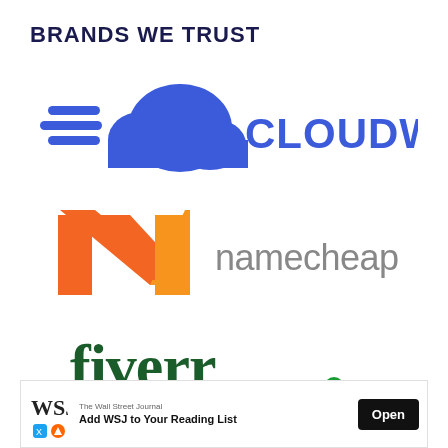BRANDS WE TRUST
[Figure (logo): Cloudways logo with blue cloud and speed lines icon, followed by CLOUDWAYS text in blue]
[Figure (logo): Namecheap logo with orange N chevron icon and namecheap text in gray]
[Figure (logo): Fiverr logo in dark green lowercase text with green circle dot]
[Figure (screenshot): WSJ Wall Street Journal advertisement banner: Add WSJ to Your Reading List, with Open button]